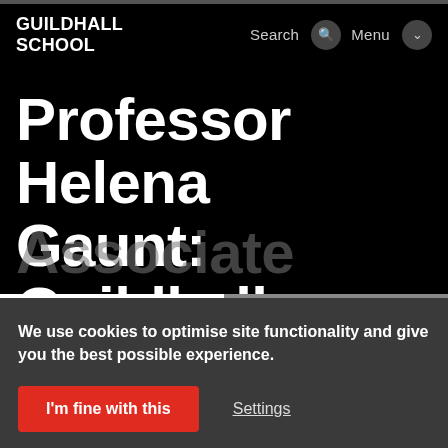GUILDHALL SCHOOL
Professor Helena Gaunt: Guildhall
Associate
We use cookies to optimise site functionality and give you the best possible experience.
I'm fine with this
Settings